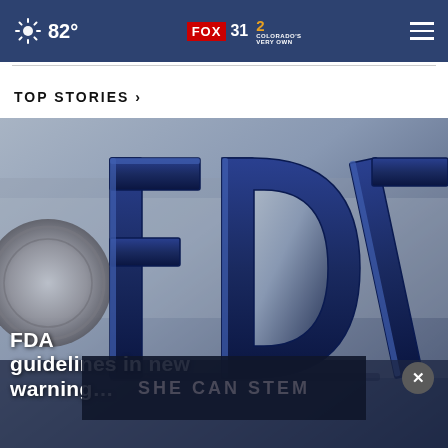82° FOX 31 2 COLORADO'S VERY OWN
TOP STORIES ›
[Figure (photo): Close-up photograph of FDA (Food and Drug Administration) logo sign, showing large blue metallic letters 'FDA' on a silver background]
FDA... guidelines in new warning...
[Figure (other): Ad banner overlay reading 'SHE CAN STEM' with dark background and close button]